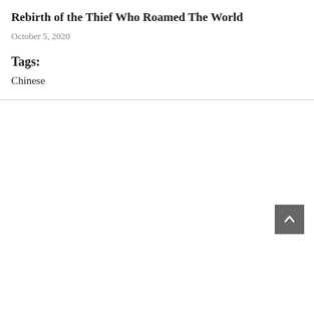Rebirth of the Thief Who Roamed The World
October 5, 2020
Tags:
Chinese